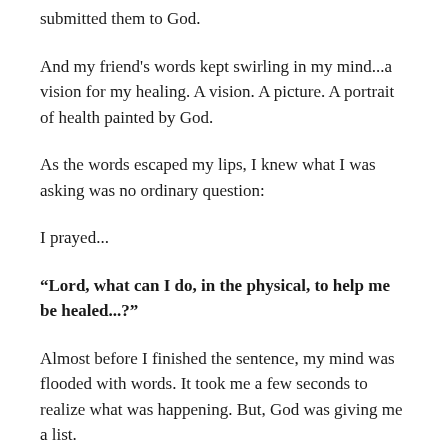submitted them to God.
And my friend's words kept swirling in my mind...a vision for my healing. A vision. A picture. A portrait of health painted by God.
As the words escaped my lips, I knew what I was asking was no ordinary question:
I prayed...
“Lord, what can I do, in the physical, to help me be healed...?”
Almost before I finished the sentence, my mind was flooded with words. It took me a few seconds to realize what was happening. But, God was giving me a list.